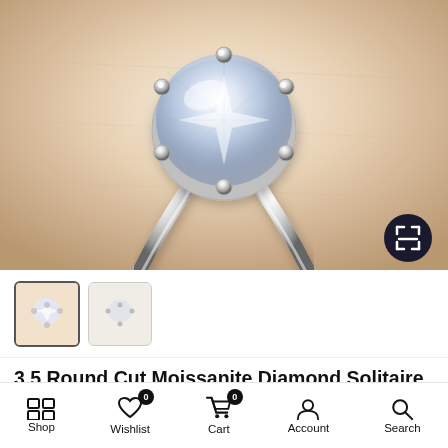[Figure (photo): Close-up photo of a round cut moissanite diamond solitaire flower stylish ring with prong setting on a soft beige fabric background. An expand/zoom button (dark circular button with arrows icon) is visible in the bottom-right corner of the image.]
[Figure (screenshot): Thumbnail image carousel row showing product image thumbnails; the first thumbnail is active/selected.]
3.5 Round Cut Moissanite Diamond Solitaire Flower Stylish Ring With Accents For Daily Wear
Shop | Wishlist (0) | Cart (0) | Account | Search